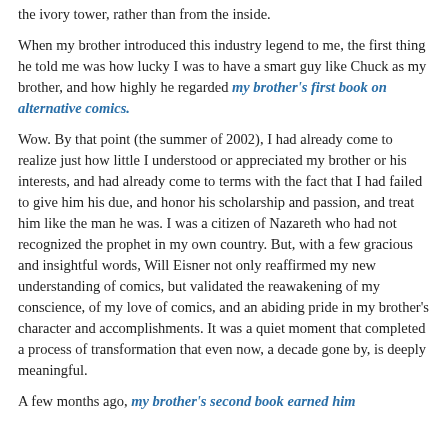the ivory tower, rather than from the inside.
When my brother introduced this industry legend to me, the first thing he told me was how lucky I was to have a smart guy like Chuck as my brother, and how highly he regarded my brother's first book on alternative comics.
Wow. By that point (the summer of 2002), I had already come to realize just how little I understood or appreciated my brother or his interests, and had already come to terms with the fact that I had failed to give him his due, and honor his scholarship and passion, and treat him like the man he was. I was a citizen of Nazareth who had not recognized the prophet in my own country. But, with a few gracious and insightful words, Will Eisner not only reaffirmed my new understanding of comics, but validated the reawakening of my conscience, of my love of comics, and an abiding pride in my brother's character and accomplishments. It was a quiet moment that completed a process of transformation that even now, a decade gone by, is deeply meaningful.
A few months ago, my brother's second book earned him